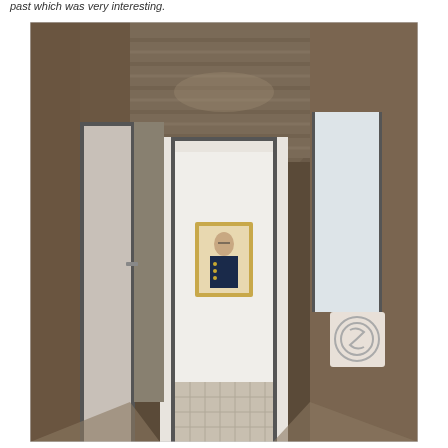past which was very interesting.
[Figure (photo): Indoor hallway/corridor photograph showing a narrow passage with brown wood-paneled walls and a metallic slatted ceiling. At the end of the corridor, through an open doorway, a framed portrait of a uniformed official hangs on a white wall. On the right wall there is a circular logo/sign. The floor at the far end has a patterned tile.]